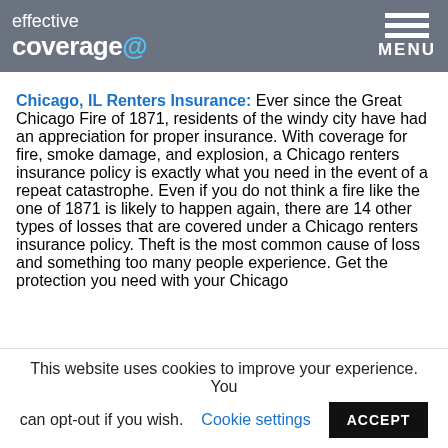effective coverage — [logo with hamburger menu]
Chicago, IL Renters Insurance: Ever since the Great Chicago Fire of 1871, residents of the windy city have had an appreciation for proper insurance. With coverage for fire, smoke damage, and explosion, a Chicago renters insurance policy is exactly what you need in the event of a repeat catastrophe. Even if you do not think a fire like the one of 1871 is likely to happen again, there are 14 other types of losses that are covered under a Chicago renters insurance policy. Theft is the most common cause of loss and something too many people experience. Get the protection you need with your Chicago
This website uses cookies to improve your experience. You can opt-out if you wish. Cookie settings ACCEPT